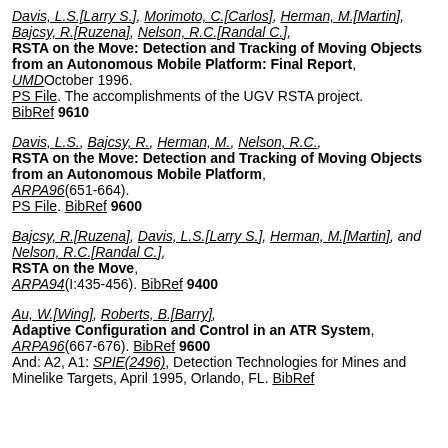Davis, L.S.[Larry S.], Morimoto, C.[Carlos], Herman, M.[Martin], Bajcsy, R.[Ruzena], Nelson, R.C.[Randal C.], RSTA on the Move: Detection and Tracking of Moving Objects from an Autonomous Mobile Platform: Final Report, UMDOctober 1996. PS File. The accomplishments of the UGV RSTA project. BibRef 9610
Davis, L.S., Bajcsy, R., Herman, M., Nelson, R.C., RSTA on the Move: Detection and Tracking of Moving Objects from an Autonomous Mobile Platform, ARPA96(651-664). PS File. BibRef 9600
Bajcsy, R.[Ruzena], Davis, L.S.[Larry S.], Herman, M.[Martin], and Nelson, R.C.[Randal C.], RSTA on the Move, ARPA94(I:435-456). BibRef 9400
Au, W.[Wing], Roberts, B.[Barry], Adaptive Configuration and Control in an ATR System, ARPA96(667-676). BibRef 9600 And: A2, A1: SPIE(2496), Detection Technologies for Mines and Minelike Targets, April 1995, Orlando, FL. BibRef